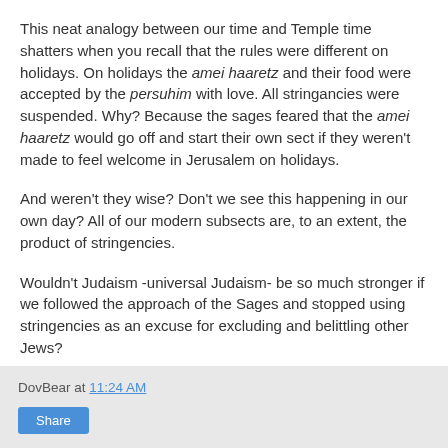This neat analogy between our time and Temple time shatters when you recall that the rules were different on holidays. On holidays the amei haaretz and their food were accepted by the persuhim with love. All stringancies were suspended. Why? Because the sages feared that the amei haaretz would go off and start their own sect if they weren't made to feel welcome in Jerusalem on holidays.
And weren't they wise? Don't we see this happening in our own day? All of our modern subsects are, to an extent, the product of stringencies.
Wouldn't Judaism -universal Judaism- be so much stronger if we followed the approach of the Sages and stopped using stringencies as an excuse for excluding and belittling other Jews?
DovBear at 11:24 AM